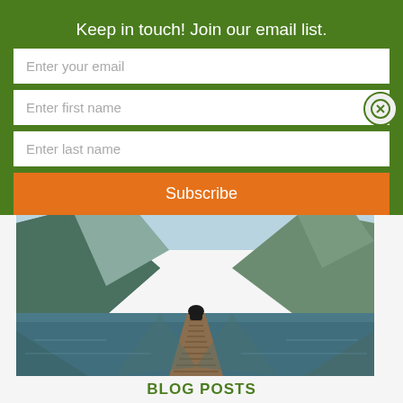Keep in touch! Join our email list.
Enter your email
Enter first name
Enter last name
Subscribe
[Figure (photo): Person sitting on a wooden dock by a mountain lake, viewed from behind, with reflections of mountains in the still water]
BLOG POSTS